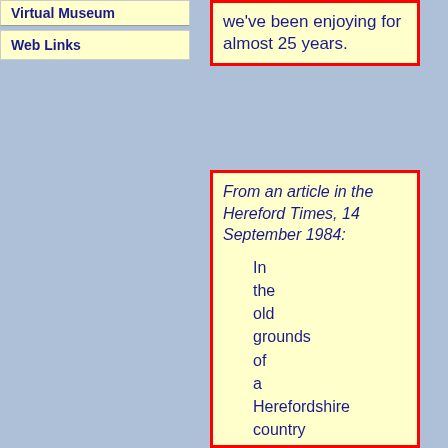Virtual Museum
Web Links
we've been enjoying for almost 25 years.
From an article in the Hereford Times, 14 September 1984:
In the old grounds of a Herefordshire country house two squat, apparently unexceptional bungalows are up for